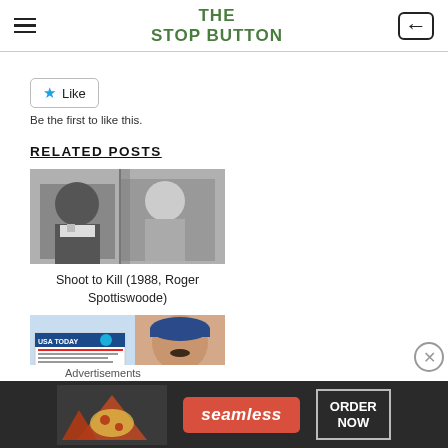THE STOP BUTTON
Like
Be the first to like this.
RELATED POSTS
[Figure (photo): Black and white photo of two men, used for Shoot to Kill (1988, Roger Spottiswoode) related post thumbnail]
Shoot to Kill (1988, Roger Spottiswoode)
[Figure (photo): Color photo of a man holding a USA Today newspaper, related post thumbnail]
Advertisements
[Figure (photo): Seamless food delivery advertisement banner showing pizza slices with Seamless logo and ORDER NOW button]